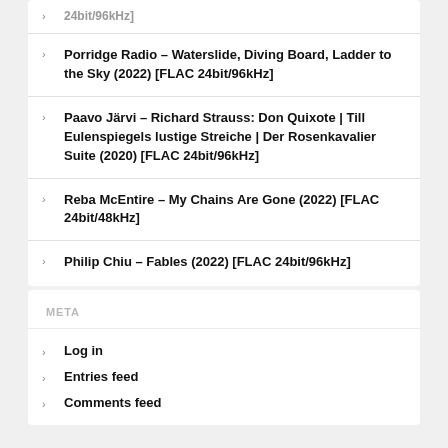Porridge Radio – Waterslide, Diving Board, Ladder to the Sky (2022) [FLAC 24bit/96kHz]
Paavo Järvi – Richard Strauss: Don Quixote | Till Eulenspiegels lustige Streiche | Der Rosenkavalier Suite (2020) [FLAC 24bit/96kHz]
Reba McEntire – My Chains Are Gone (2022) [FLAC 24bit/48kHz]
Philip Chiu – Fables (2022) [FLAC 24bit/96kHz]
META
Log in
Entries feed
Comments feed